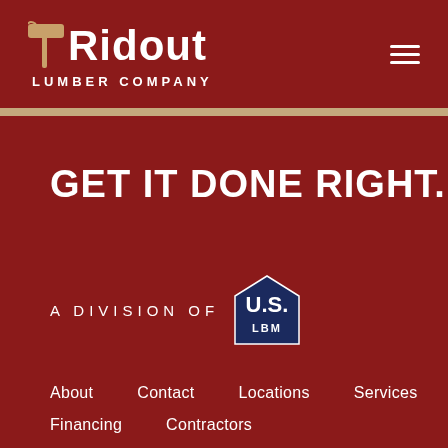[Figure (logo): Ridout Lumber Company logo with hammer icon and text on dark red background]
GET IT DONE RIGHT.
A DIVISION OF U.S. LBM
About
Contact
Locations
Services
Financing
Contractors